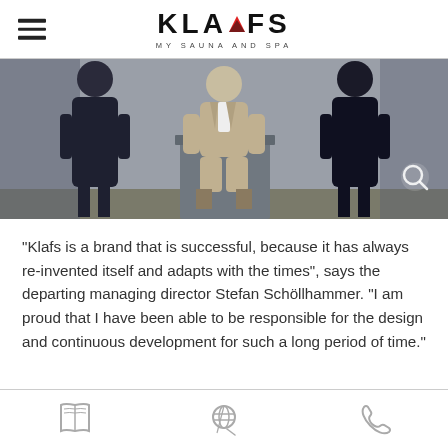KLAFS MY SAUNA AND SPA
[Figure (photo): Three men in formal suits standing/sitting near a concrete structure. Left and right figures wear dark navy suits; center figure wears a tan/khaki suit and sits on a concrete block. Background is a grey concrete wall.]
“Klafs is a brand that is successful, because it has always re-invented itself and adapts with the times”, says the departing managing director Stefan Schöllhammer. “I am proud that I have been able to be responsible for the design and continuous development for such a long period of time.”
navigation icons: book, world/locator, phone